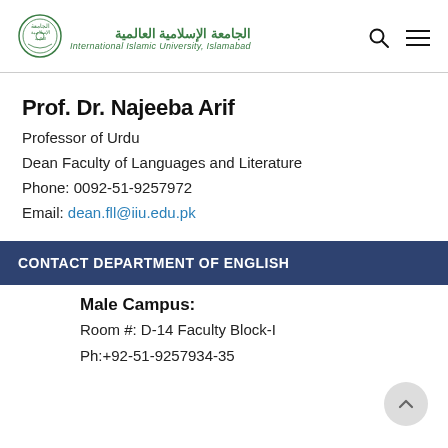[Figure (logo): International Islamic University Islamabad logo with Arabic text and English name]
Prof. Dr. Najeeba Arif
Professor of Urdu
Dean Faculty of Languages and Literature
Phone: 0092-51-9257972
Email: dean.fll@iiu.edu.pk
CONTACT DEPARTMENT OF ENGLISH
Male Campus:
Room #: D-14 Faculty Block-I
Ph:+92-51-9257934-35